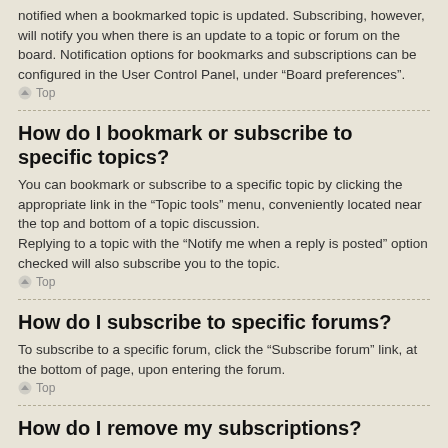notified when a bookmarked topic is updated. Subscribing, however, will notify you when there is an update to a topic or forum on the board. Notification options for bookmarks and subscriptions can be configured in the User Control Panel, under “Board preferences”.
Top
How do I bookmark or subscribe to specific topics?
You can bookmark or subscribe to a specific topic by clicking the appropriate link in the “Topic tools” menu, conveniently located near the top and bottom of a topic discussion.
Replying to a topic with the “Notify me when a reply is posted” option checked will also subscribe you to the topic.
Top
How do I subscribe to specific forums?
To subscribe to a specific forum, click the “Subscribe forum” link, at the bottom of page, upon entering the forum.
Top
How do I remove my subscriptions?